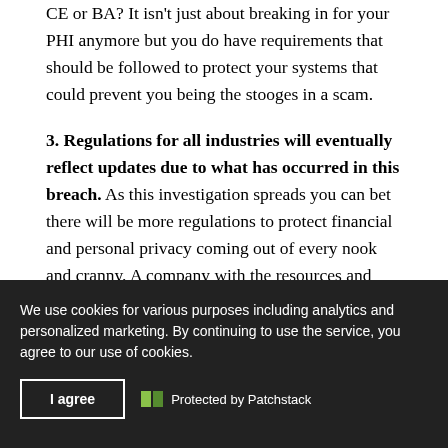CE or BA?  It isn't just about breaking in for your PHI anymore but you do have requirements that should be followed to protect your systems that could prevent you being the stooges in a scam.
3. Regulations for all industries will eventually reflect updates due to what has occurred in this breach.  As this investigation spreads you can bet there will be more regulations to protect financial and personal privacy coming out of every nook and cranny.  A company with the resources and connections of Target didn't take effective precautions to prevent this level of attack even though they were supposed
We use cookies for various purposes including analytics and personalized marketing. By continuing to use the service, you agree to our use of cookies.
I agree
Protected by Patchstack